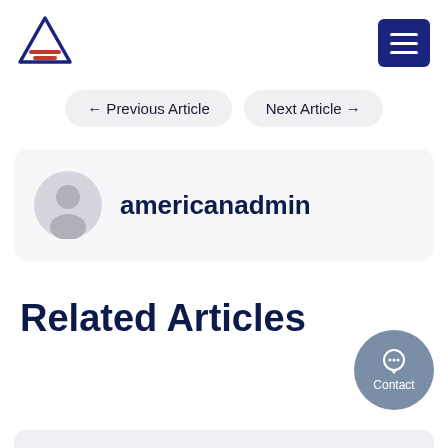[Figure (logo): American Admin logo: dark blue triangle outline with red horizontal lines at the base]
[Figure (other): Dark blue hamburger menu button with three white horizontal lines]
← Previous Article
Next Article →
americanadmin
Related Articles
[Figure (other): Gray circular Contact button with speech bubble icon and 'Contact' label]